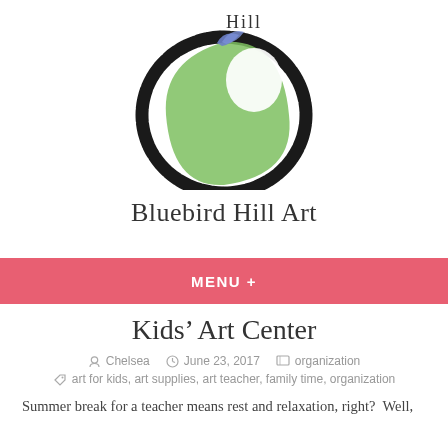[Figure (logo): Bluebird Hill Art logo: a hand-drawn black circle with green brushstroke fill and a small blue bird wing at top, with text 'Hill' above the circle interior]
Bluebird Hill Art
MENU +
Kids' Art Center
Chelsea   June 23, 2017   organization
art for kids, art supplies, art teacher, family time, organization
Summer break for a teacher means rest and relaxation, right?  Well,